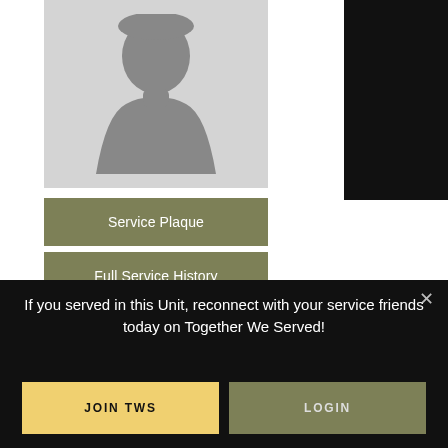[Figure (photo): Default placeholder silhouette profile photo on gray background]
[Figure (other): Black rectangle in upper right corner, partially cropped]
Service Plaque
Full Service History
Atterson, Lloyd, PVT
If you served in this Unit, reconnect with your service friends today on Together We Served!
JOIN TWS
LOGIN